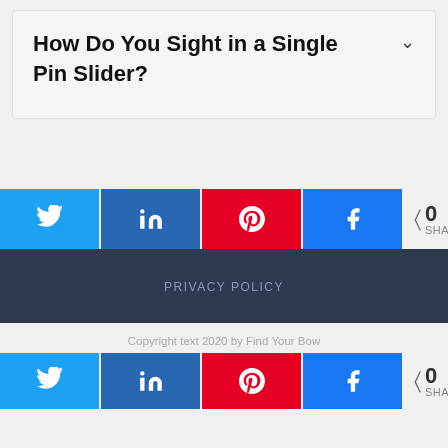How Do You Sight in a Single Pin Slider?
PRIVACY POLICY
Copyright text 2020 by Find Your Bow
0 SHARES
0 SHARES